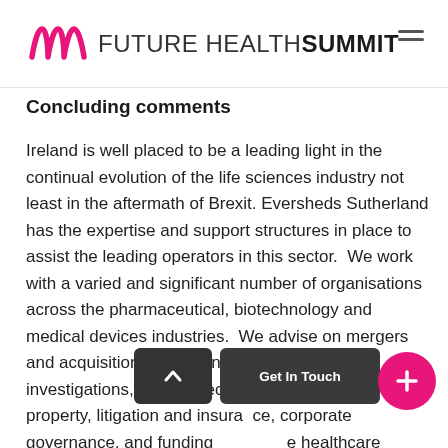MMM FUTURE HEALTH SUMMIT
Concluding comments
Ireland is well placed to be a leading light in the continual evolution of the life sciences industry not least in the aftermath of Brexit. Eversheds Sutherland has the expertise and support structures in place to assist the leading operators in this sector.  We work with a varied and significant number of organisations across the pharmaceutical, biotechnology and medical devices industries.  We advise on mergers and acquisitions, joint ventures, inquiries, investigations, data protection, privacy, intellectual property, litigation and insurance, corporate governance, and funding across the healthcare sector.